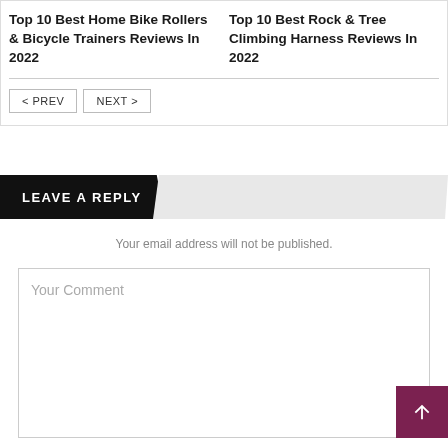Top 10 Best Home Bike Rollers & Bicycle Trainers Reviews In 2022
Top 10 Best Rock & Tree Climbing Harness Reviews In 2022
< PREV
NEXT >
LEAVE A REPLY
Your email address will not be published.
Your Comment